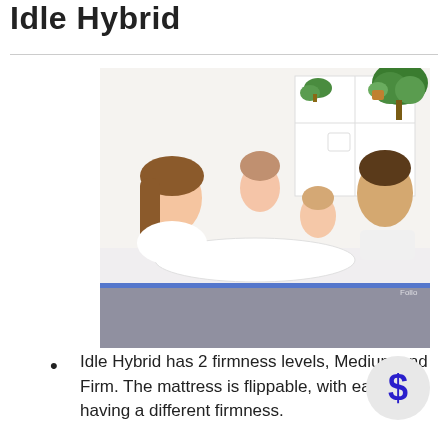Idle Hybrid
[Figure (photo): Family photo showing a mother, father, toddler, and baby lying on a mattress in a bright room with white shelving and green plants in the background. The mattress has a grey fabric border with a blue accent stripe.]
Idle Hybrid has 2 firmness levels, Medium and Firm. The mattress is flippable, with each side having a different firmness.